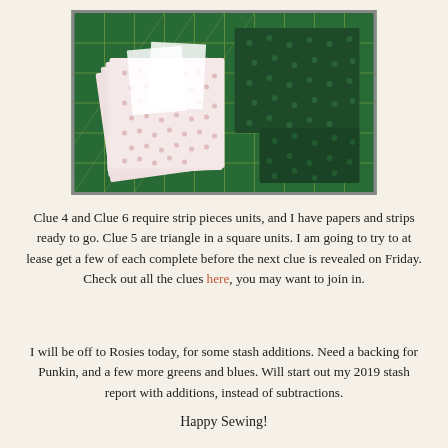[Figure (photo): Photograph of fabric pieces on a green cutting mat. On the left side is a stack of light pink/white dotted fabric squares. On the right is a dark green patterned fabric piece. The mat shows yellow grid lines.]
Clue 4 and Clue 6 require strip pieces units, and I have papers and strips ready to go. Clue 5 are triangle in a square units. I am going to try to at lease get a few of each complete before the next clue is revealed on Friday. Check out all the clues here, you may want to join in.
I will be off to Rosies today, for some stash additions. Need a backing for Punkin, and a few more greens and blues. Will start out my 2019 stash report with additions, instead of subtractions.
Happy Sewing!